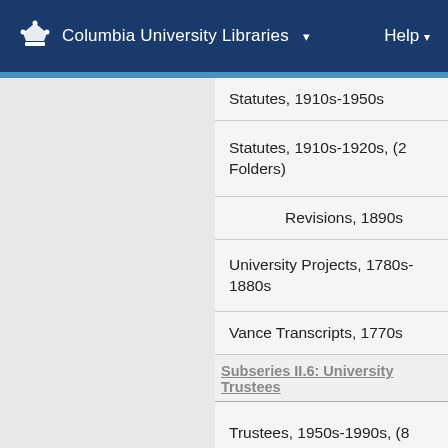Columbia University Libraries  Help
Statutes, 1910s-1950s
Statutes, 1910s-1920s, (2 Folders)
Revisions, 1890s
University Projects, 1780s-1880s
Vance Transcripts, 1770s
Subseries II.6: University Trustees
Trustees, 1950s-1990s, (8 Folders)